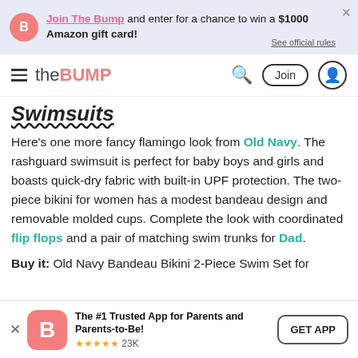Join The Bump and enter for a chance to win a $1000 Amazon gift card! See official rules
the BUMP — Join
Swimsuits
Here's one more fancy flamingo look from Old Navy. The rashguard swimsuit is perfect for baby boys and girls and boasts quick-dry fabric with built-in UPF protection. The two-piece bikini for women has a modest bandeau design and removable molded cups. Complete the look with coordinated flip flops and a pair of matching swim trunks for Dad.
Buy it: Old Navy Bandeau Bikini 2-Piece Swim Set for
The #1 Trusted App for Parents and Parents-to-Be! ★★★★★ 23K  GET APP